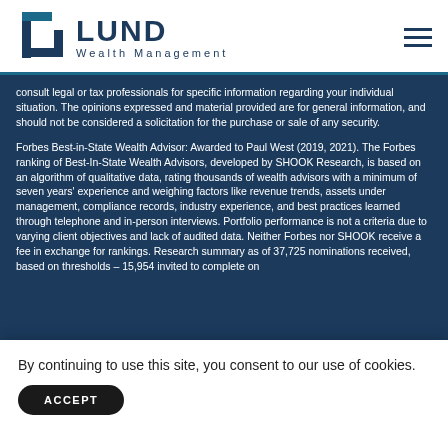[Figure (logo): Lund Wealth Management logo with angular bracket icon and text]
consult legal or tax professionals for specific information regarding your individual situation. The opinions expressed and material provided are for general information, and should not be considered a solicitation for the purchase or sale of any security.
Forbes Best-in-State Wealth Advisor: Awarded to Paul West (2019, 2021). The Forbes ranking of Best-In-State Wealth Advisors, developed by SHOOK Research, is based on an algorithm of qualitative data, rating thousands of wealth advisors with a minimum of seven years' experience and weighing factors like revenue trends, assets under management, compliance records, industry experience, and best practices learned through telephone and in-person interviews. Portfolio performance is not a criteria due to varying client objectives and lack of audited data. Neither Forbes nor SHOOK receive a fee in exchange for rankings. Research summary as of 37,725 nominations received, based on thresholds – 15,954 invited to complete on...
By continuing to use this site, you consent to our use of cookies.